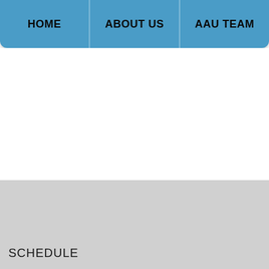HOME | ABOUT US | AAU TEAM
SCHEDULE